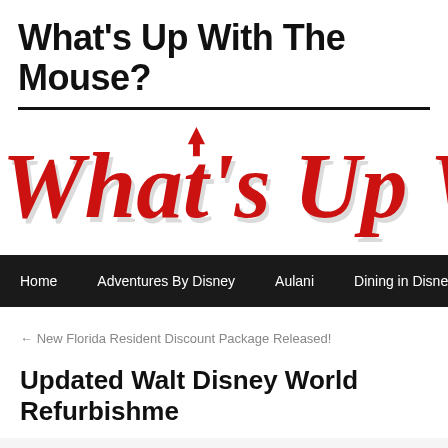What's Up With The Mouse?
[Figure (logo): What's Up With the Mouse website logo in large red serif text with an upward arrow on the U]
Home   Adventures By Disney   Aulani   Dining in Disneyland   D…
← New Florida Resident Discount Package Released!
Updated Walt Disney World Refurbishme…